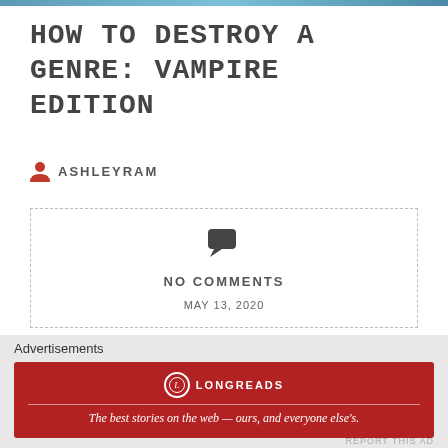[Figure (photo): Top blue/teal image bar cropped at top]
HOW TO DESTROY A GENRE: VAMPIRE EDITION
ASHLEYRAM
NO COMMENTS
MAY 13, 2020
Advertisements
[Figure (infographic): Longreads red banner ad: The best stories on the web — ours, and everyone else's.]